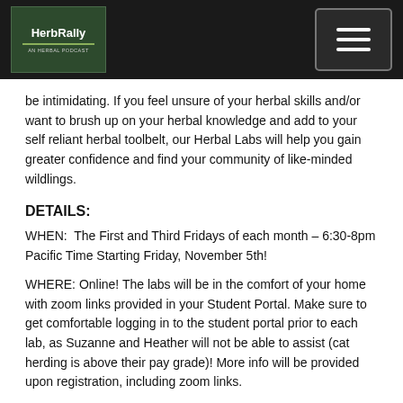HerbRally | AN HERBAL PODCAST
be intimidating. If you feel unsure of your herbal skills and/or want to brush up on your herbal knowledge and add to your self reliant herbal toolbelt, our Herbal Labs will help you gain greater confidence and find your community of like-minded wildlings.
DETAILS:
WHEN:  The First and Third Fridays of each month – 6:30-8pm Pacific Time Starting Friday, November 5th!
WHERE: Online! The labs will be in the comfort of your home with zoom links provided in your Student Portal. Make sure to get comfortable logging in to the student portal prior to each lab, as Suzanne and Heather will not be able to assist (cat herding is above their pay grade)! More info will be provided upon registration, including zoom links.
WHO: The lovely Suzanne and Heather… and YOU! These 2 herbal dynamos split each month's labs, alternating the instruction with their vast experience out in the field and in the